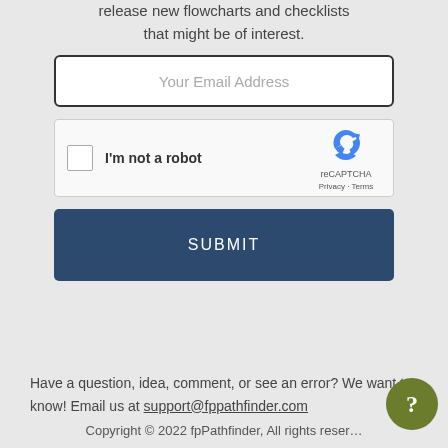release new flowcharts and checklists that might be of interest.
Your Email Address
[Figure (other): reCAPTCHA widget with checkbox labeled I'm not a robot]
SUBMIT
Have a question, idea, comment, or see an error? We want to know! Email us at support@fppathfinder.com
Copyright © 2022 fpPathfinder, All rights reserved.